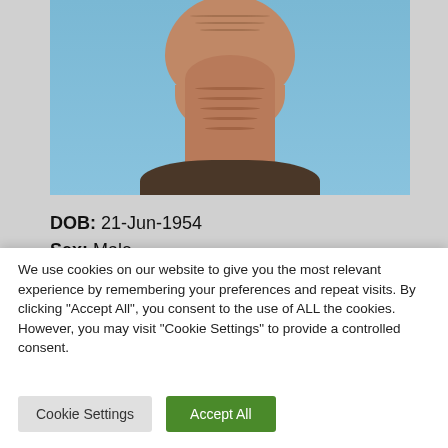[Figure (photo): Mugshot photo of a middle-aged male, showing neck and lower face area against a blue background, wearing a dark brown shirt]
DOB: 21-Jun-1954
Sex: Male
Race: White (partially visible/cut off)
We use cookies on our website to give you the most relevant experience by remembering your preferences and repeat visits. By clicking "Accept All", you consent to the use of ALL the cookies. However, you may visit "Cookie Settings" to provide a controlled consent.
Cookie Settings
Accept All